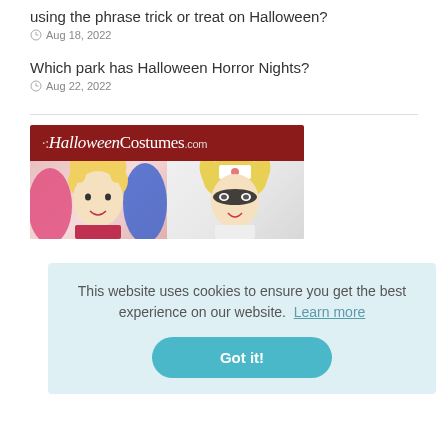using the phrase trick or treat on Halloween?
Aug 18, 2022
Which park has Halloween Horror Nights?
Aug 22, 2022
[Figure (illustration): HalloweenCostumes.com advertisement banner showing the website logo on a dark red background and two women dressed in Halloween costumes below]
This website uses cookies to ensure you get the best experience on our website. Learn more
Got it!